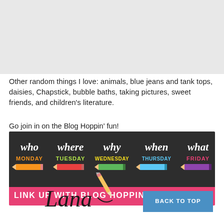[Figure (other): Top image placeholder - light gray rectangle]
Other random things I love: animals, blue jeans and tank tops, daisies, Chapstick, bubble baths, taking pictures, sweet friends, and children's literature.
Go join in on the Blog Hoppin' fun!
[Figure (infographic): Blog Hoppin' Back to School 2014 banner. Dark chalkboard background with 5 columns: WHO/MONDAY, WHERE/TUESDAY, WHY/WEDNESDAY, WHEN/THURSDAY, WHAT/FRIDAY each with a colored pencil. Pink bar at bottom reads LINK UP WITH BLOG HOPPIN' Back to School 2014]
[Figure (illustration): Lana signature in cursive with a yellow pencil graphic]
BACK TO TOP